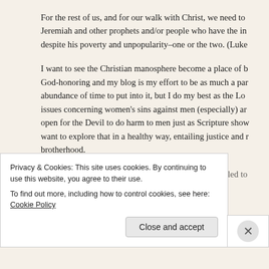For the rest of us, and for our walk with Christ, we need to Jeremiah and other prophets and/or people who have the in despite his poverty and unpopularity–one or the two. (Luke
I want to see the Christian manosphere become a place of b God-honoring and my blog is my effort to be as much a par abundance of time to put into it, but I do my best as the Lo issues concerning women's sins against men (especially) ar open for the Devil to do harm to men just as Scripture sho want to explore that in a healthy way, entailing justice and r brotherhood.
Hey, it's my latest catch-phrase: Christian men are called to d t
Privacy & Cookies: This site uses cookies. By continuing to use this website, you agree to their use.
To find out more, including how to control cookies, see here: Cookie Policy
Close and accept